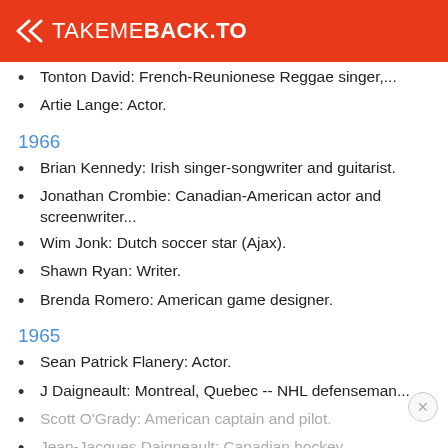TAKEMEBACK.TO
Tonton David: French-Reunionese Reggae singer,...
Artie Lange: Actor.
1966
Brian Kennedy: Irish singer-songwriter and guitarist.
Jonathan Crombie: Canadian-American actor and screenwriter...
Wim Jonk: Dutch soccer star (Ajax).
Shawn Ryan: Writer.
Brenda Romero: American game designer.
1965
Sean Patrick Flanery: Actor.
J Daigneault: Montreal, Quebec -- NHL defenseman...
Scott O'Grady: American captain and pilot.
Jean-Jacques Daigneault: Canadian hockey...